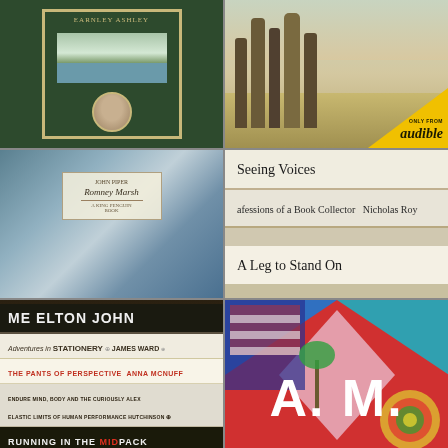[Figure (photo): Green book cover with author portrait in circle, landscape scene, ornate border. Dark green background with gold/tan decorative border.]
[Figure (photo): Outdoor nature scene with tall trees in sepia/color tones. Yellow triangular Audible badge in bottom right corner reading 'ONLY FROM audible'.]
[Figure (photo): Book cover for 'Romney Marsh' by John Piper - blue marbled paper cover with centered label showing title in italic script.]
[Figure (photo): Stack of books photographed from the spine showing: 'Seeing Voices', 'afessions of a Book Collector Nicholas Roy', 'A Leg to Stand On']
[Figure (photo): Stack of books with spines showing: 'ME ELTON JOHN', 'Adventures in STATIONERY JAMES WARD', 'THE PANTS OF PERSPECTIVE ANNA MCNUFF', 'ENDURE MIND, BODY AND THE CURIOUSLY ELASTIC LIMITS OF HUMAN PERFORMANCE HUTCHINSON', 'RUNNING IN THE MIDPACK']
[Figure (photo): Colorful graphic design image with geometric shapes in red, blue, teal, pink/white. Large white bold letters 'A. M.' centered on image.]